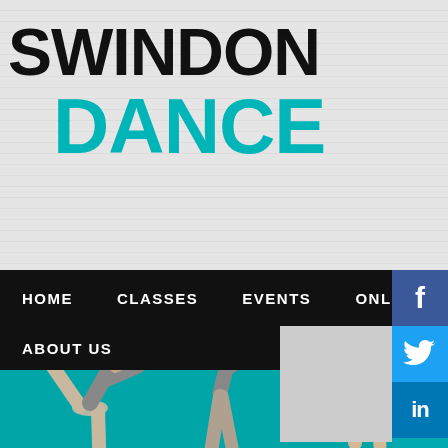SWINDON DANCE
HOME   CLASSES   EVENTS   ONLI...   ABOUT US
[Figure (screenshot): Swindon Dance website screenshot showing logo at top, navigation bar with HOME, CLASSES, EVENTS, ONLINE, ABOUT US links, social media icons for Facebook, Twitter, LinkedIn on the right, and a teal background section with two female dancers performing ballet/contemporary dance poses.]